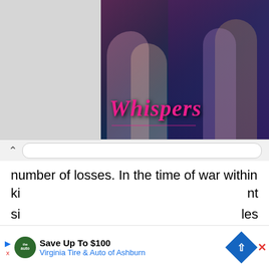[Figure (screenshot): Whispers game/app banner image showing romantic scenes with pink stylized text 'Whispers' on a dark background]
number of losses. In the time of war within the warrior, food and medicine should be providing. For the benefit of human beings in 1948 UN General Assembly was taken a historical decision with the help of UN member states in the name of Universal Declaration of Human Right this bill pass on 10 December 1948. This document also ki...nt si...les
[Figure (screenshot): Advertisement bar: 'Save Up To $100 Virginia Tire & Auto of Ashburn' with logo, navigation icon, and X close button]